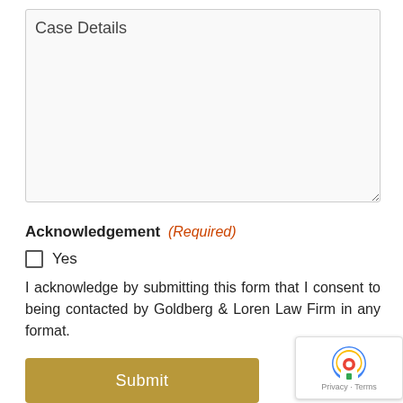Case Details
Acknowledgement (Required)
Yes
I acknowledge by submitting this form that I consent to being contacted by Goldberg & Loren Law Firm in any format.
Submit